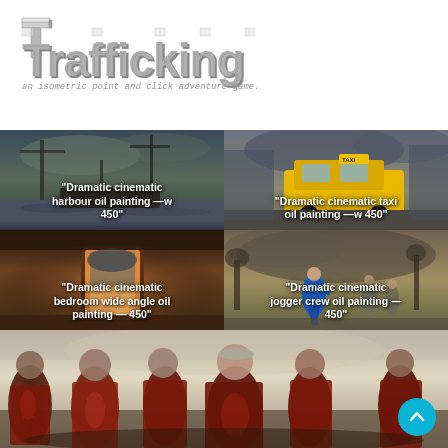Trafficking
an isometric point and click adventure game.
[Figure (photo): Dramatic cinematic harbour oil painting — w 450]
[Figure (photo): Dramatic cinematic taxi oil painting — w 450]
[Figure (photo): Dramatic cinematic bedroom wide angle oil painting — w 450]
[Figure (photo): Dramatic cinematic jogger crew oil painting — w 450]
[Figure (photo): Large oil painting of figures in red protective suits standing in a row against a wall]